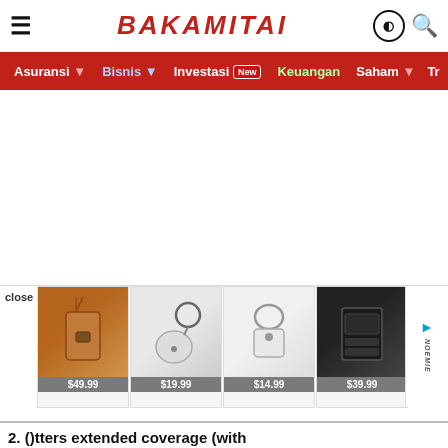BAKAMITAI
Asuransi · Bisnis · Investasi New · Keuangan · Saham · Tr
[Figure (photo): Advertisement banner showing leather accessories: brown crossbody phone pouch ($49.99), white AirPods case with keyring ($19.99), white coin purse with clip ($14.99), black card wallet ($39.99). NOEMIE brand.]
2. ()tters extended coverage (with